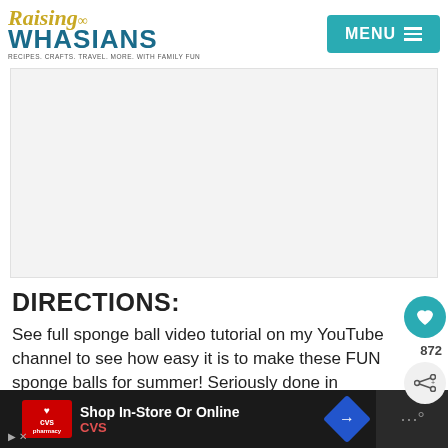Raising Whasians — RECIPES. CRAFTS. TRAVEL. MORE. WITH FAMILY FUN
[Figure (screenshot): Gray advertisement placeholder rectangle]
DIRECTIONS:
See full sponge ball video tutorial on my YouTube channel to see how easy it is to make these FUN sponge balls for summer! Seriously done in minutes.
Cut sponges into thirds lengthwise
[Figure (screenshot): CVS Pharmacy advertisement bar at bottom: Shop In-Store Or Online, CVS]